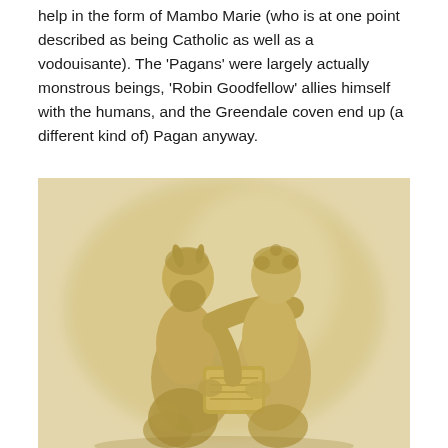help in the form of Mambo Marie (who is at one point described as being Catholic as well as a vodouisante). The 'Pagans' were largely actually monstrous beings, 'Robin Goodfellow' allies himself with the humans, and the Greendale coven end up (a different kind of) Pagan anyway.
[Figure (photo): Sepia-toned photograph of a classical marble sculpture depicting two figures — a bearded satyr-like figure with small horns placing his arm around a younger male figure, both examining an object held between them. The sculpture is rendered in an antiqued yellowish-brown tone against a faded background.]